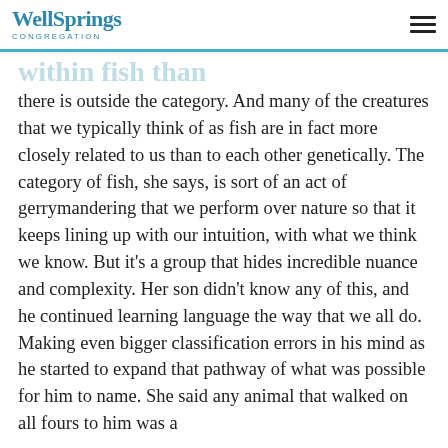WellSprings Congregation
within fish than there is outside the category. And many of the creatures that we typically think of as fish are in fact more closely related to us than to each other genetically. The category of fish, she says, is sort of an act of gerrymandering that we perform over nature so that it keeps lining up with our intuition, with what we think we know. But it’s a group that hides incredible nuance and complexity. Her son didn’t know any of this, and he continued learning language the way that we all do. Making even bigger classification errors in his mind as he started to expand that pathway of what was possible for him to name. She said any animal that walked on all fours to him was a